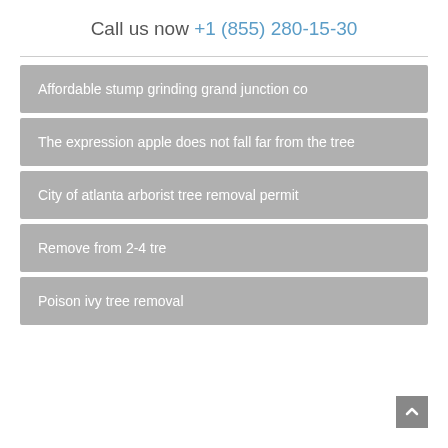Call us now +1 (855) 280-15-30
Affordable stump grinding grand junction co
The expression apple does not fall far from the tree
City of atlanta arborist tree removal permit
Remove from 2-4 tre
Poison ivy tree removal